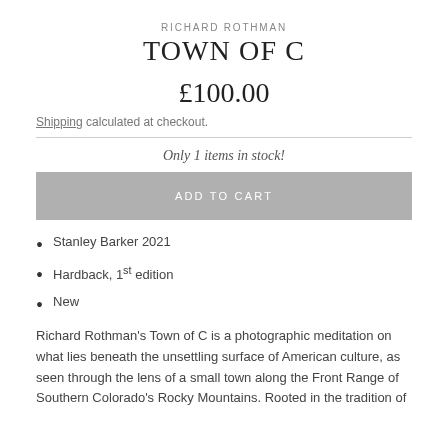RICHARD ROTHMAN
TOWN OF C
£100.00
Shipping calculated at checkout.
Only 1 items in stock!
ADD TO CART
Stanley Barker 2021
Hardback, 1st edition
New
Richard Rothman's Town of C is a photographic meditation on what lies beneath the unsettling surface of American culture, as seen through the lens of a small town along the Front Range of Southern Colorado's Rocky Mountains. Rooted in the tradition of